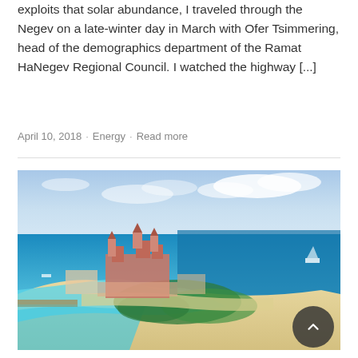exploits that solar abundance, I traveled through the Negev on a late-winter day in March with Ofer Tsimmering, head of the demographics department of the Ramat HaNegev Regional Council. I watched the highway [...]
April 10, 2018 · Energy · Read more
[Figure (photo): Aerial photograph of a coastal resort complex, showing a large pink castle-like hotel structure (Atlantis) on a palm-shaped island. Turquoise and blue ocean surrounds a sandy peninsula with beach areas, greenery, and resort amenities.]